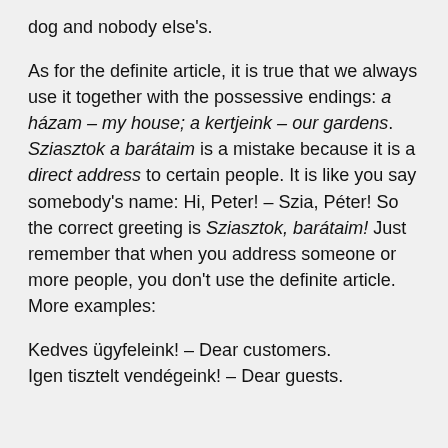dog and nobody else's.
As for the definite article, it is true that we always use it together with the possessive endings: a házam – my house; a kertjeink – our gardens. Sziasztok a barátaim is a mistake because it is a direct address to certain people. It is like you say somebody's name: Hi, Peter! – Szia, Péter! So the correct greeting is Sziasztok, barátaim! Just remember that when you address someone or more people, you don't use the definite article. More examples:
Kedves ügyfeleink! – Dear customers. Igen tisztelt vendégeink! – Dear guests.